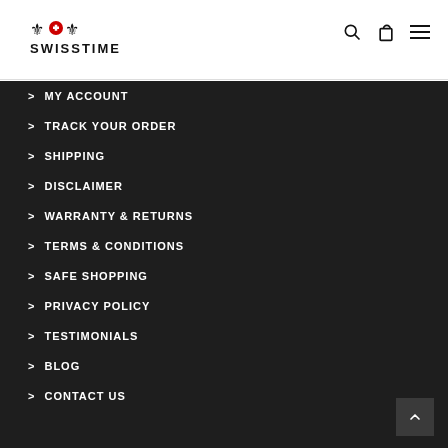[Figure (logo): SwissTime logo with decorative icons above the text SWISSTIME]
MY ACCOUNT
TRACK YOUR ORDER
SHIPPING
DISCLAIMER
WARRANTY & RETURNS
TERMS & CONDITIONS
SAFE SHOPPING
PRIVACY POLICY
TESTIMONIALS
BLOG
CONTACT US